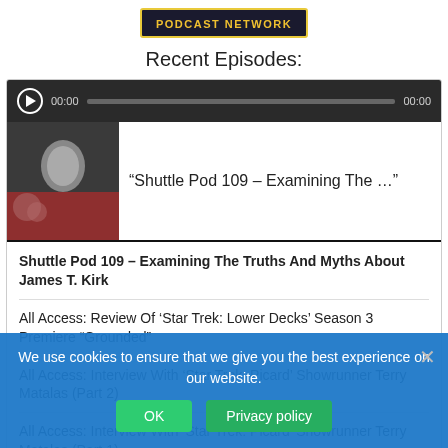[Figure (logo): Podcast Network logo badge with yellow text on dark background]
Recent Episodes:
[Figure (screenshot): Audio player with play button, time 00:00, progress bar, and episode thumbnail showing a Star Trek character with episode title '“Shuttle Pod 109 – Examining The ...']
Shuttle Pod 109 – Examining The Truths And Myths About James T. Kirk
All Access: Review Of ‘Star Trek: Lower Decks’ Season 3 Premiere "Grounded"
All Access: Interview With ‘Star Trek: Picard’ Showrunner Terry Matalas (Part 2)
All Access: Interview With ‘Star Trek: Picard’ Showrunner Terry Matalas (Part 1)
Shuttle Pod 108 - Remembering Nichelle Nichols And Looking Towards Las Vegas...
We use cookies to ensure that we give you the best experience on our website.